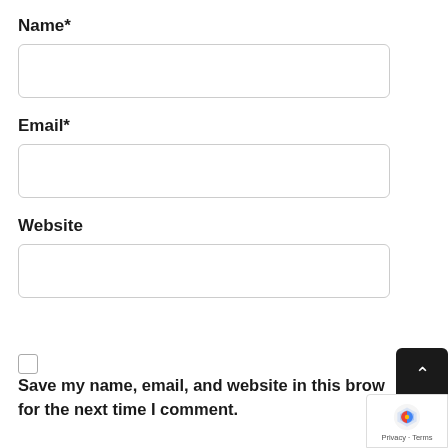Name*
[Figure (other): Empty text input field for Name]
Email*
[Figure (other): Empty text input field for Email]
Website
[Figure (other): Empty text input field for Website]
[Figure (other): Checkbox (unchecked)]
Save my name, email, and website in this browser for the next time I comment.